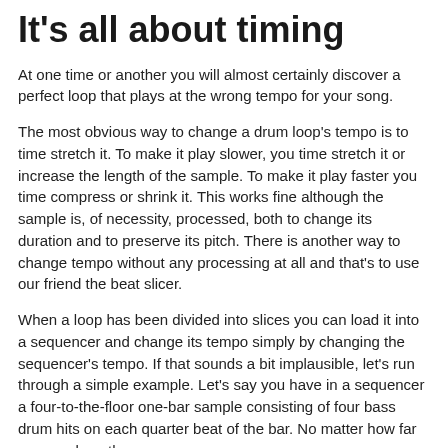It's all about timing
At one time or another you will almost certainly discover a perfect loop that plays at the wrong tempo for your song.
The most obvious way to change a drum loop's tempo is to time stretch it. To make it play slower, you time stretch it or increase the length of the sample. To make it play faster you time compress or shrink it. This works fine although the sample is, of necessity, processed, both to change its duration and to preserve its pitch. There is another way to change tempo without any processing at all and that's to use our friend the beat slicer.
When a loop has been divided into slices you can load it into a sequencer and change its tempo simply by changing the sequencer's tempo. If that sounds a bit implausible, let's run through a simple example. Let's say you have in a sequencer a four-to-the-floor one-bar sample consisting of four bass drum hits on each quarter beat of the bar. No matter how far you crank up the